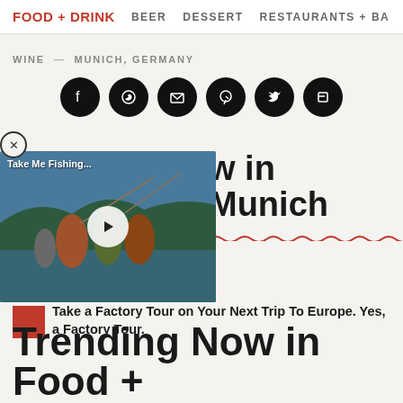FOOD + DRINK  BEER  DESSERT  RESTAURANTS + BA
WINE  —  MUNICH, GERMANY
[Figure (infographic): Six social media sharing icon buttons (Facebook, WhatsApp, Email/envelope, Pinterest, Twitter, Flipboard) as white icons on black circles]
[Figure (screenshot): Video player overlay showing a fishing scene with family, title 'Take Me Fishing...' and a play button, with a close (X) button in upper left]
w in Munich
Take a Factory Tour on Your Next Trip To Europe. Yes, a Factory Tour.
Trending Now in Food +